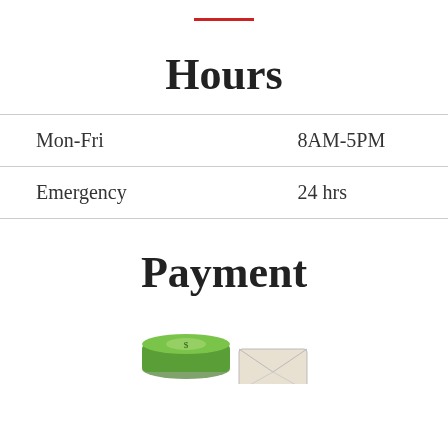Hours
|  |  |
| --- | --- |
| Mon-Fri | 8AM-5PM |
| Emergency | 24 hrs |
Payment
[Figure (illustration): Cash and envelope payment icons]